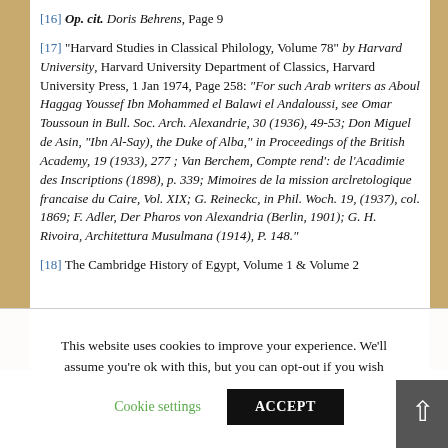[16] Op. cit. Doris Behrens, Page 9
[17] "Harvard Studies in Classical Philology, Volume 78" by Harvard University, Harvard University Department of Classics, Harvard University Press, 1 Jan 1974, Page 258: “For such Arab writers as Aboul Haggag Youssef Ibn Mohammed el Balawi el Andaloussi, see Omar Toussoun in Bull. Soc. Arch. Alexandrie, 30 (1936), 49-53; Don Miguel de Asin, “Ibn Al-Say), the Duke of Alba,” in Proceedings of the British Academy, 19 (1933), 277 ; Van Berchem, Compte rend': de l'Acadimie des Inscriptions (1898), p. 339; Mimoires de la mission arclretologique francaise du Caire, Vol. XIX; G. Reineckc, in Phil. Woch. 19, (1937), col. 1869; F. Adler, Der Pharos von Alexandria (Berlin, 1901); G. H. Rivoira, Architettura Musulmana (1914), P. 148.”
[18] The Cambridge History of Egypt, Volume 1 & Volume 2
This website uses cookies to improve your experience. We'll assume you're ok with this, but you can opt-out if you wish